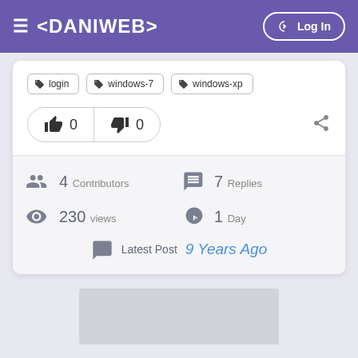≡ <DANIWEB>  Log In
login
windows-7
windows-xp
👍 0  👎 0
4 Contributors  7 Replies  230 views  1 Day  Latest Post 9 Years Ago
[Figure (other): Gray placeholder image area at bottom]